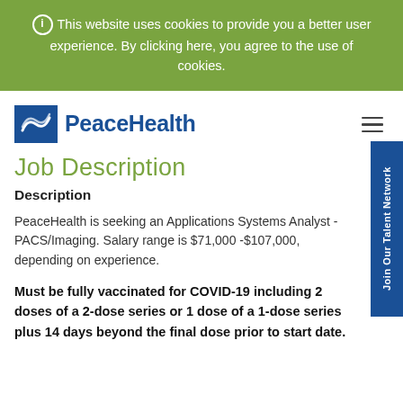This website uses cookies to provide you a better user experience. By clicking here, you agree to the use of cookies.
[Figure (logo): PeaceHealth logo with blue square containing white wave/swirl design and blue PeaceHealth text]
Job Description
Description
PeaceHealth is seeking an Applications Systems Analyst - PACS/Imaging. Salary range is $71,000 -$107,000, depending on experience.
Must be fully vaccinated for COVID-19 including 2 doses of a 2-dose series or 1 dose of a 1-dose series plus 14 days beyond the final dose prior to start date.